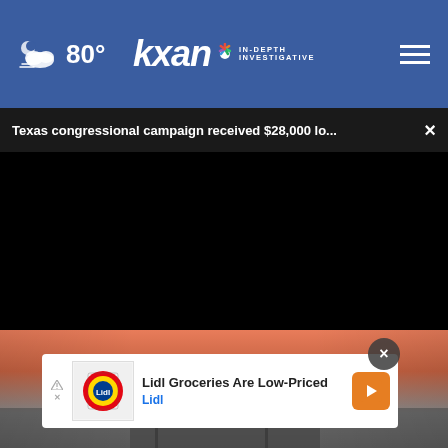80° kxan IN-DEPTH INVESTIGATIVE
Texas congressional campaign received $28,000 lo...
[Figure (screenshot): Video player showing a black screen with playback controls: play button, mute button, 00:00 timestamp, captions button, and fullscreen button. A progress bar is visible at the bottom of the video area.]
[Figure (photo): Sunset/dusk outdoor scene with orange and pink sky, stadium or large structure silhouette visible.]
Lidl Groceries Are Low-Priced Lidl